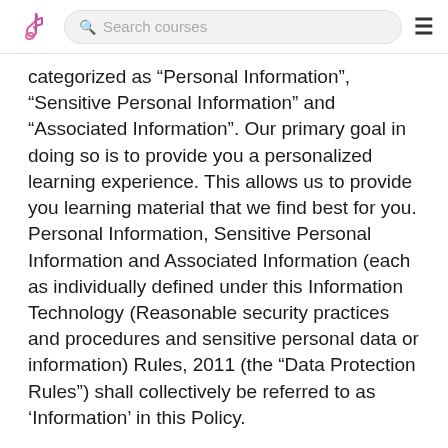Search courses
categorized as "Personal Information", "Sensitive Personal Information" and "Associated Information". Our primary goal in doing so is to provide you a personalized learning experience. This allows us to provide you learning material that we find best for you. Personal Information, Sensitive Personal Information and Associated Information (each as individually defined under this Information Technology (Reasonable security practices and procedures and sensitive personal data or information) Rules, 2011 (the “Data Protection Rules”) shall collectively be referred to as ‘Information’ in this Policy.